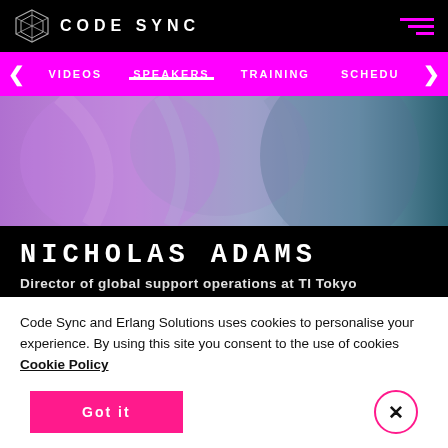CODE SYNC
[Figure (screenshot): Navigation bar with links: VIDEOS, SPEAKERS (active/underlined), TRAINING, SCHEDU with left and right arrows]
[Figure (photo): Hero image showing clothing/fabric in purple, blue and teal tones]
NICHOLAS ADAMS
Director of global support operations at TI Tokyo
Code Sync and Erlang Solutions uses cookies to personalise your experience. By using this site you consent to the use of cookies Cookie Policy
Got it
×